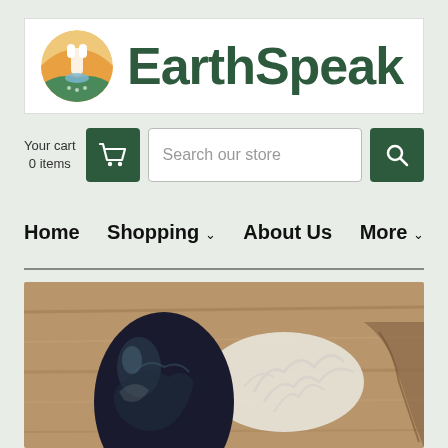[Figure (logo): EarthSpeak store header with circular nature logo and brand name in dark green serif-style bold font on white background]
Your cart
0 items
[Figure (infographic): Navigation bar with cart icon button, search input field with placeholder 'Search our store', and search button with magnifying glass icon]
Home   Shopping ˅   About Us   More ˅
[Figure (photo): Product photo showing a dark shiny black/blue polished stone beside white coral and driftwood on a wooden surface]